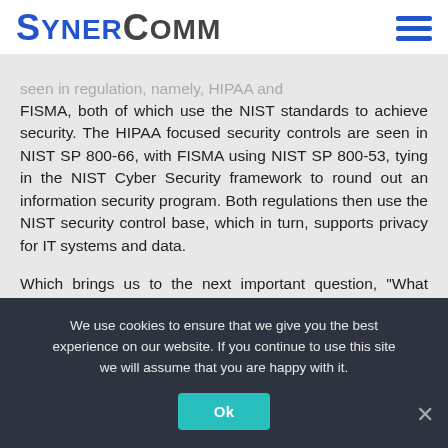[Figure (logo): SynerComm logo with blue 'SYNER' and dark grey 'COMM' text, with a blue hamburger menu icon on the right]
seen in regulation, namely, HIPAA and FISMA, both of which use the NIST standards to achieve security. The HIPAA focused security controls are seen in NIST SP 800-66, with FISMA using NIST SP 800-53, tying in the NIST Cyber Security framework to round out an information security program. Both regulations then use the NIST security control base, which in turn, supports privacy for IT systems and data.

Which brings us to the next important question, “What about privacy, isn’t that part of the GDPR?” Excellent point. Here
We use cookies to ensure that we give you the best experience on our website. If you continue to use this site we will assume that you are happy with it.